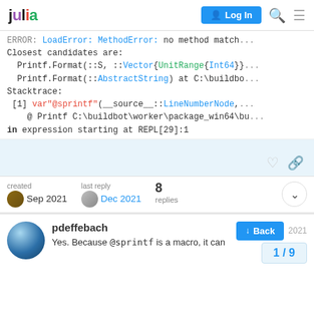julia [Log In]
ERROR: LoadError: MethodError: no method match...
Closest candidates are:
  Printf.Format(::S, ::Vector{UnitRange{Int64}}
  Printf.Format(::AbstractString) at C:\buildbc
Stacktrace:
 [1] var"@sprintf"(__source__::LineNumberNode,
    @ Printf C:\buildbot\worker\package_win64\bu
in expression starting at REPL[29]:1
created Sep 2021   last reply Dec 2021   8 replies
pdeffebach
Yes. Because @sprintf is a macro, it can